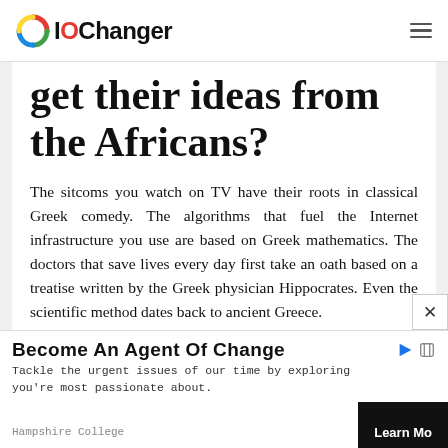IOChanger
get their ideas from the Africans?
The sitcoms you watch on TV have their roots in classical Greek comedy. The algorithms that fuel the Internet infrastructure you use are based on Greek mathematics. The doctors that save lives every day first take an oath based on a treatise written by the Greek physician Hippocrates. Even the scientific method dates back to ancient Greece.
Become An Agent Of Change
Tackle the urgent issues of our time by exploring you're most passionate about.
Hampshire College
Learn Mo